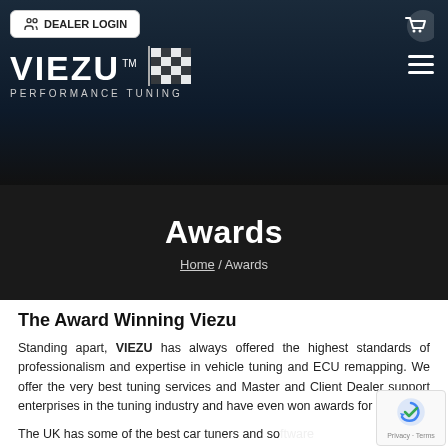DEALER LOGIN | VIEZU PERFORMANCE TUNING
Awards
Home / Awards
The Award Winning Viezu
Standing apart, VIEZU has always offered the highest standards of professionalism and expertise in vehicle tuning and ECU remapping. We offer the very best tuning services and Master and Client Dealer support enterprises in the tuning industry and have even won awards for it.
The UK has some of the best car tuners and software